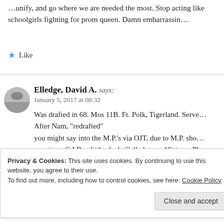…unify, and go where we are needed the most. Stop acting like schoolgirls fighting for prom queen. Damn embarrassin…
Like
Elledge, David A. says:
January 5, 2017 at 08:32
Was drafted in 68. Mos 11B. Ft. Polk, Tigerland. Serve… After Nam, "redrafted" you might say into the M.P.'s via OJT, due to M.P. sho… wearing a C.I.B. a little slack. Called more 1Sgts. or Pl… over indulged, than I locked up.
Privacy & Cookies: This site uses cookies. By continuing to use this website, you agree to their use. To find out more, including how to control cookies, see here: Cookie Policy Close and accept